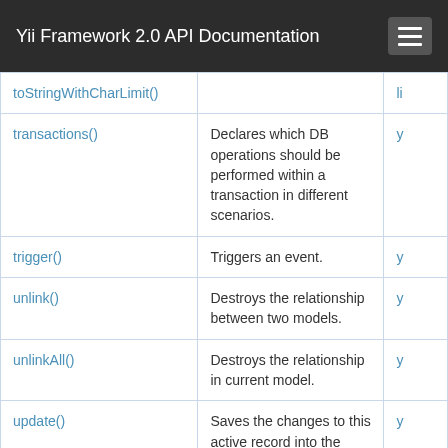Yii Framework 2.0 API Documentation
| Method | Description | Defined By |
| --- | --- | --- |
| toStringWithCharLimit() |  | li... |
| transactions() | Declares which DB operations should be performed within a transaction in different scenarios. | y... |
| trigger() | Triggers an event. | y... |
| unlink() | Destroys the relationship between two models. | y... |
| unlinkAll() | Destroys the relationship in current model. | y... |
| update() | Saves the changes to this active record into the associated database table. | y... |